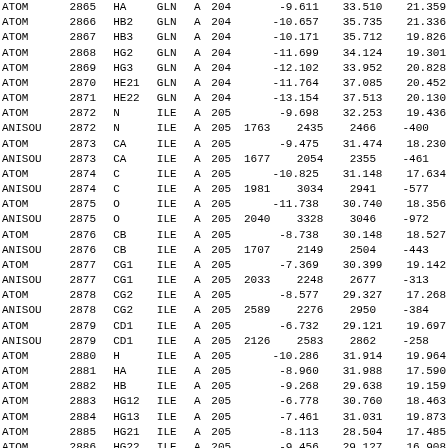| RecType | Serial | Name | Res | Chain | ResSeq | X | Y | Z |
| --- | --- | --- | --- | --- | --- | --- | --- | --- |
| ATOM | 2865 | HA | GLN | A | 204 | -9.611 | 33.510 | 21.359 |
| ATOM | 2866 | HB2 | GLN | A | 204 | -10.657 | 35.735 | 21.336 |
| ATOM | 2867 | HB3 | GLN | A | 204 | -10.171 | 35.712 | 19.826 |
| ATOM | 2868 | HG2 | GLN | A | 204 | -11.699 | 34.124 | 19.301 |
| ATOM | 2869 | HG3 | GLN | A | 204 | -12.102 | 33.952 | 20.828 |
| ATOM | 2870 | HE21 | GLN | A | 204 | -11.764 | 37.085 | 20.452 |
| ATOM | 2871 | HE22 | GLN | A | 204 | -13.154 | 37.513 | 20.130 |
| ATOM | 2872 | N | ILE | A | 205 | -9.698 | 32.253 | 19.436 |
| ANISOU | 2872 | N | ILE | A | 205 | 1763 | 2435 | 2466 |
| ATOM | 2873 | CA | ILE | A | 205 | -9.475 | 31.474 | 18.230 |
| ANISOU | 2873 | CA | ILE | A | 205 | 1677 | 2054 | 2355 |
| ATOM | 2874 | C | ILE | A | 205 | -10.825 | 31.148 | 17.634 |
| ANISOU | 2874 | C | ILE | A | 205 | 1981 | 3034 | 2941 |
| ATOM | 2875 | O | ILE | A | 205 | -11.738 | 30.740 | 18.356 |
| ANISOU | 2875 | O | ILE | A | 205 | 2040 | 3328 | 3046 |
| ATOM | 2876 | CB | ILE | A | 205 | -8.738 | 30.148 | 18.527 |
| ANISOU | 2876 | CB | ILE | A | 205 | 1707 | 2149 | 2504 |
| ATOM | 2877 | CG1 | ILE | A | 205 | -7.369 | 30.399 | 19.142 |
| ANISOU | 2877 | CG1 | ILE | A | 205 | 2033 | 2248 | 2677 |
| ATOM | 2878 | CG2 | ILE | A | 205 | -8.577 | 29.327 | 17.268 |
| ANISOU | 2878 | CG2 | ILE | A | 205 | 2589 | 2276 | 2950 |
| ATOM | 2879 | CD1 | ILE | A | 205 | -6.732 | 29.121 | 19.697 |
| ANISOU | 2879 | CD1 | ILE | A | 205 | 2126 | 2583 | 2862 |
| ATOM | 2880 | H | ILE | A | 205 | -10.286 | 31.914 | 19.964 |
| ATOM | 2881 | HA | ILE | A | 205 | -8.960 | 31.988 | 17.590 |
| ATOM | 2882 | HB | ILE | A | 205 | -9.268 | 29.638 | 19.159 |
| ATOM | 2883 | HG12 | ILE | A | 205 | -6.778 | 30.760 | 18.463 |
| ATOM | 2884 | HG13 | ILE | A | 205 | -7.461 | 31.031 | 19.873 |
| ATOM | 2885 | HG21 | ILE | A | 205 | -8.113 | 28.504 | 17.485 |
| ATOM | 2886 | HG22 | ILE | A | 205 | -9.456 | 29.127 | 16.908 |
| ATOM | 2887 | HG23 | ILE | A | 205 | ... | 29.207 | ... |